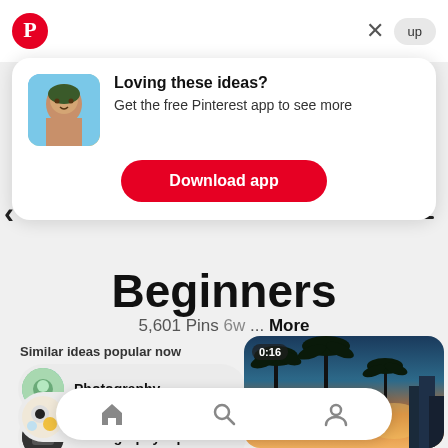[Figure (screenshot): Pinterest app top bar with logo and sign up / close button]
[Figure (screenshot): Pinterest app download popup card with thumbnail, text 'Loving these ideas? Get the free Pinterest app to see more' and red Download app button]
Beginners
5,601 Pins 6w ... More
Similar ideas popular now
Photography
Photography Tips
Photography Lessons
[Figure (photo): Video thumbnail showing palm trees at sunset with orange sky, timer label 0:16 in top left]
[Figure (screenshot): Bottom navigation bar with home, search, and profile icons]